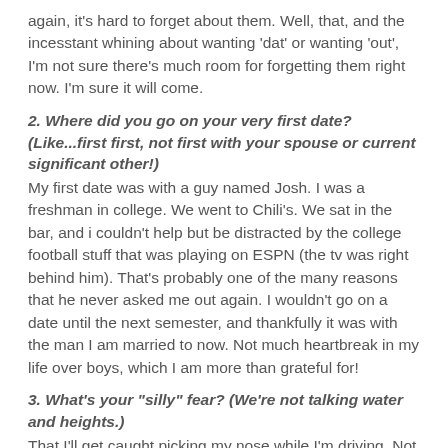again, it's hard to forget about them. Well, that, and the incesstant whining about wanting 'dat' or wanting 'out', I'm not sure there's much room for forgetting them right now. I'm sure it will come.
2. Where did you go on your very first date? (Like...first first, not first with your spouse or current significant other!)
My first date was with a guy named Josh. I was a freshman in college. We went to Chili's. We sat in the bar, and i couldn't help but be distracted by the college football stuff that was playing on ESPN (the tv was right behind him). That's probably one of the many reasons that he never asked me out again. I wouldn't go on a date until the next semester, and thankfully it was with the man I am married to now. Not much heartbreak in my life over boys, which I am more than grateful for!
3. What's your "silly" fear? (We're not talking water and heights.)
That I'll get caught picking my nose while I'm driving. Not that I ever do anything like that.